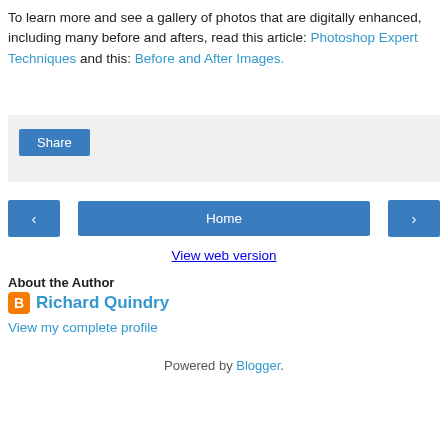To learn more and see a gallery of photos that are digitally enhanced, including many before and afters, read this article: Photoshop Expert Techniques and this: Before and After Images.
[Figure (screenshot): Share button widget area with light gray background]
[Figure (screenshot): Navigation row with left arrow button, Home button, and right arrow button]
View web version
About the Author
Richard Quindry
View my complete profile
Powered by Blogger.